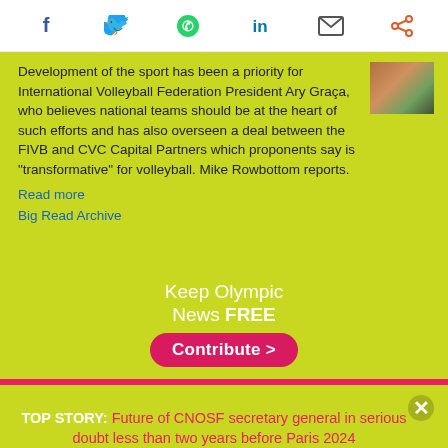[Figure (infographic): Social media sharing icons: Facebook, Twitter, WhatsApp, LinkedIn, Email, Share]
Development of the sport has been a priority for International Volleyball Federation President Ary Graça, who believes national teams should be at the heart of such efforts and has also overseen a deal between the FIVB and CVC Capital Partners which proponents say is "transformative" for volleyball. Mike Rowbottom reports.
Read more
Big Read Archive
[Figure (infographic): Keep Olympic News FREE — Contribute > button banner on lime green background]
TOP STORY: Future of CNOSF secretary general in serious doubt less than two years before Paris 2024
[Figure (logo): insidethegames.biz Sports Business Awards 2017 — WINNER Best in Sports Media logo]